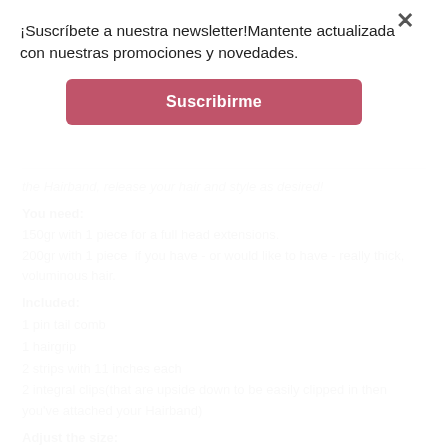¡Suscríbete a nuestra newsletter!Mantente actualizada con nuestras promociones y novedades.
Suscribirme
the Hairband, release your hair and style as desired!
You need:
150gr with 1 piece for a full head extensions.
200gr with 1 piece  if you have - or would like to have - really thick, voluminous hair.
Included:
1 pin tail comb
1 hairgrip
2 strips with 11 inches each
2 integral clips(that are upside down to be easily clipped in then you've attached your Hairband)
Adjust the size:
You get two strips to attach. In addition, there are four holes on each side so that you can adjust the Hairband to your head size!
How to apply it: